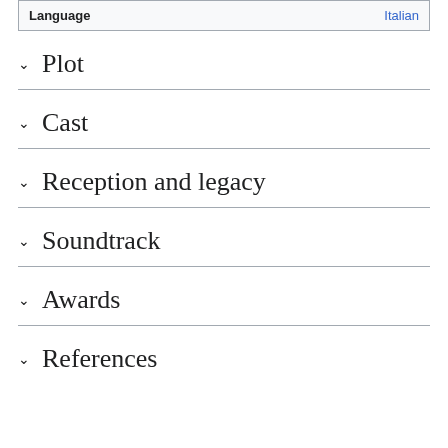| Language | Italian |
| --- | --- |
Plot
Cast
Reception and legacy
Soundtrack
Awards
References